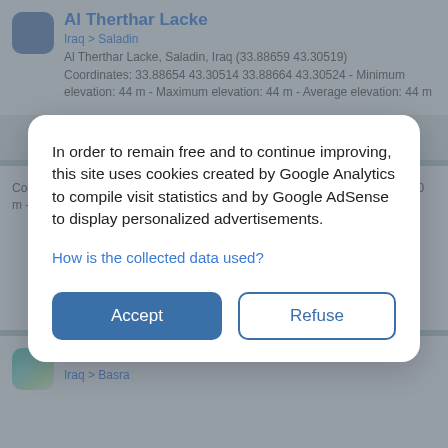Al Therthar Lacke
Iraq > Saladin
Al Therthar Lacke, Saladin, Iraq (33.88659 43.30519)
Coordinates: 33.88654 43.30514 33.88664 43.30524 - Minimum elevation: 44 m - Maximum elevation: 44 m - Average elevation: 44 m
In order to remain free and to continue improving, this site uses cookies created by Google Analytics to compile visit statistics and by Google AdSense to display personalized advertisements.
How is the collected data used?
Accept
Refuse
Coordinates: 34.29250 44.26806 34.33250 44.30806 - Minimum elevation: 60 m - Maximum elevation: 86 m - Average elevation: 69 m
Shatt al-Arab
Iraq > Basra